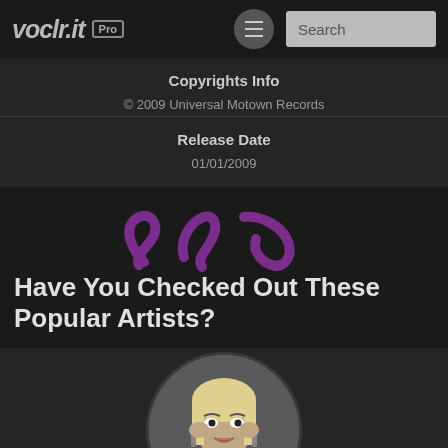voclr.it Pro
Copyrights Info
© 2009 Universal Motown Records
Release Date
01/01/2009
[Figure (logo): Purple decorative squiggle/wave logo mark]
Have You Checked Out These Popular Artists?
[Figure (photo): Black and white circular photo of a female artist with blonde hair and large earrings, hands raised to her head]